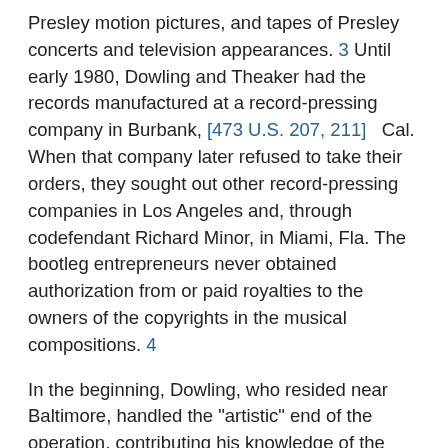Presley motion pictures, and tapes of Presley concerts and television appearances. 3 Until early 1980, Dowling and Theaker had the records manufactured at a record-pressing company in Burbank, [473 U.S. 207, 211]   Cal. When that company later refused to take their orders, they sought out other record-pressing companies in Los Angeles and, through codefendant Richard Minor, in Miami, Fla. The bootleg entrepreneurs never obtained authorization from or paid royalties to the owners of the copyrights in the musical compositions. 4
In the beginning, Dowling, who resided near Baltimore, handled the "artistic" end of the operation, contributing his knowledge of the Presley subculture, seeking out and selecting the musical material, designing the covers and labels, and writing the liner notes, while Theaker, who lived in Los Angeles and had some familiarity with the music industry, took care of the business end, arranging for the